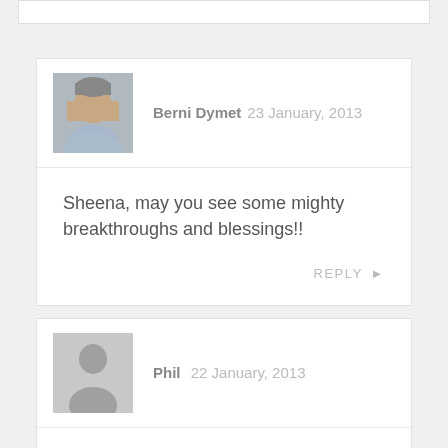[Figure (other): Top stub of a previous comment card, partially visible]
Berni Dymet 23 January, 2013
Sheena, may you see some mighty breakthroughs and blessings!!
REPLY
[Figure (other): Generic user avatar placeholder (grey silhouette)]
Phil 22 January, 2013
Thanks Berni, a timely